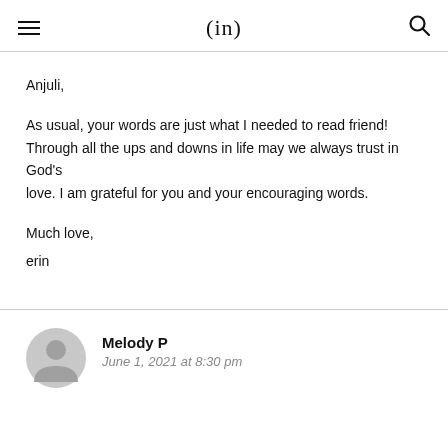(in)
Anjuli,

As usual, your words are just what I needed to read friend! Through all the ups and downs in life may we always trust in God's love. I am grateful for you and your encouraging words.

Much love,
erin
Melody P
June 1, 2021 at 8:30 pm